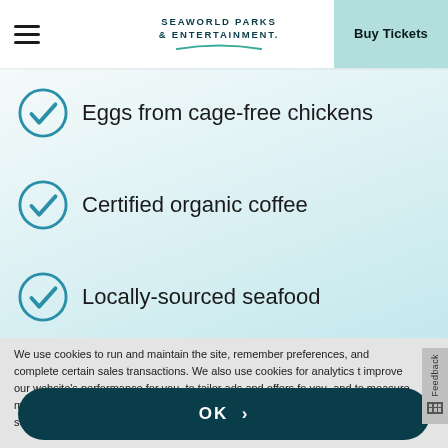SeaWorld Parks & Entertainment — Buy Tickets
Eggs from cage-free chickens
Certified organic coffee
Locally-sourced seafood
We use cookies to run and maintain the site, remember preferences, and complete certain sales transactions. We also use cookies for analytics to improve our website's performance for you, to tailor ads and offers for you, and to measure marketing choices. Learn more about our cookie here. You may update cookie settings here or select "OK" to continue with default settings.